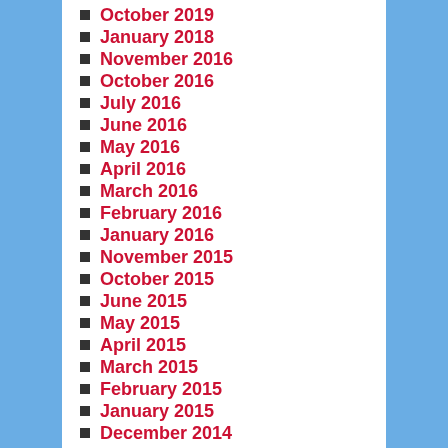October 2019
January 2018
November 2016
October 2016
July 2016
June 2016
May 2016
April 2016
March 2016
February 2016
January 2016
November 2015
October 2015
June 2015
May 2015
April 2015
March 2015
February 2015
January 2015
December 2014
November 2014
October 2014